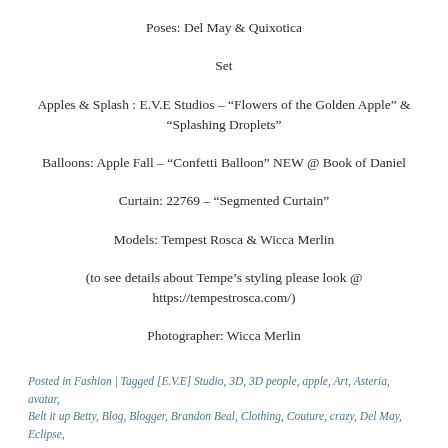Poses: Del May & Quixotica
Set
Apples & Splash : E.V.E Studios – “Flowers of the Golden Apple” & “Splashing Droplets”
Balloons: Apple Fall – “Confetti Balloon” NEW @ Book of Daniel
Curtain: 22769 – “Segmented Curtain”
Models: Tempest Rosca & Wicca Merlin
(to see details about Tempe’s styling please look @ https://tempestrosca.com/)
Photographer: Wicca Merlin
Posted in Fashion | Tagged [E.V.E] Studio, 3D, 3D people, apple, Art, Asteria, avatar, Belt it up Betty, Blog, Blogger, Brandon Beal, Clothing, Couture, crazy, Del May, Eclipse,